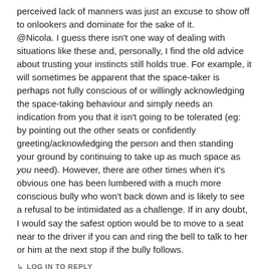perceived lack of manners was just an excuse to show off to onlookers and dominate for the sake of it.
@Nicola. I guess there isn't one way of dealing with situations like these and, personally, I find the old advice about trusting your instincts still holds true. For example, it will sometimes be apparent that the space-taker is perhaps not fully conscious of or willingly acknowledging the space-taking behaviour and simply needs an indication from you that it isn't going to be tolerated (eg: by pointing out the other seats or confidently greeting/acknowledging the person and then standing your ground by continuing to take up as much space as you need). However, there are other times when it's obvious one has been lumbered with a much more conscious bully who won't back down and is likely to see a refusal to be intimidated as a challenge. If in any doubt, I would say the safest option would be to move to a seat near to the driver if you can and ring the bell to talk to her or him at the next stop if the bully follows.
↳ LOG IN TO REPLY